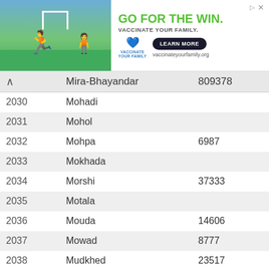[Figure (screenshot): Advertisement banner: GO FOR THE WIN. VACCINATE YOUR FAMILY. with soccer player illustrations and a LEARN MORE button linking to vaccinateyourfamily.org]
|  | Name | Population |
| --- | --- | --- |
| 2029 | Mira-Bhayandar | 809378 |
| 2030 | Mohadi |  |
| 2031 | Mohol |  |
| 2032 | Mohpa | 6987 |
| 2033 | Mokhada |  |
| 2034 | Morshi | 37333 |
| 2035 | Motala |  |
| 2036 | Mouda | 14606 |
| 2037 | Mowad | 8777 |
| 2038 | Mudkhed | 23517 |